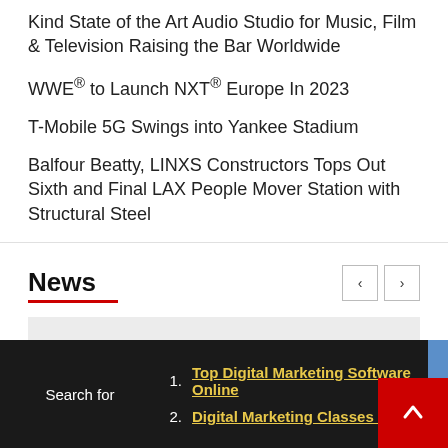Kind State of the Art Audio Studio for Music, Film & Television Raising the Bar Worldwide
WWE® to Launch NXT® Europe In 2023
T-Mobile 5G Swings into Yankee Stadium
Balfour Beatty, LINXS Constructors Tops Out Sixth and Final LAX People Mover Station with Structural Steel
News
[Figure (photo): News article image placeholder (gray box)]
Search for
1. Top Digital Marketing Software Online
2. Digital Marketing Classes Online